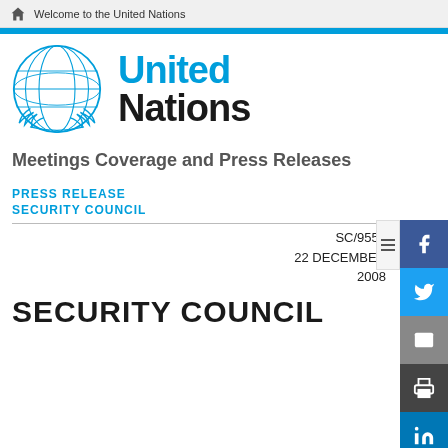Welcome to the United Nations
[Figure (logo): United Nations emblem and wordmark logo with blue globe and 'United Nations' text]
Meetings Coverage and Press Releases
PRESS RELEASE
SECURITY COUNCIL
SC/9552
22 DECEMBER
2008
SECURITY COUNCIL